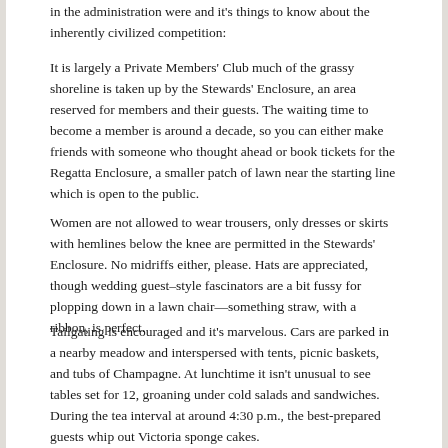in the administration were and it's things to know about the inherently civilized competition:
It is largely a Private Members' Club much of the grassy shoreline is taken up by the Stewards' Enclosure, an area reserved for members and their guests. The waiting time to become a member is around a decade, so you can either make friends with someone who thought ahead or book tickets for the Regatta Enclosure, a smaller patch of lawn near the starting line which is open to the public.
Women are not allowed to wear trousers, only dresses or skirts with hemlines below the knee are permitted in the Stewards' Enclosure. No midriffs either, please. Hats are appreciated, though wedding guest–style fascinators are a bit fussy for plopping down in a lawn chair—something straw, with a ribbon, is perfect.
Tailgating is encouraged and it's marvelous. Cars are parked in a nearby meadow and interspersed with tents, picnic baskets, and tubs of Champagne. At lunchtime it isn't unusual to see tables set for 12, groaning under cold salads and sandwiches. During the tea interval at around 4:30 p.m., the best-prepared guests whip out Victoria sponge cakes.